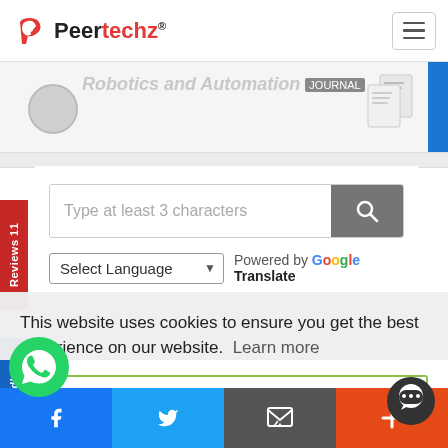[Figure (screenshot): Peertechz website navbar with logo and hamburger menu]
[Figure (screenshot): Partial banner showing journal title in italic gray text with blue right bar and document icons]
[Figure (screenshot): Side tab labeled Reviews 11 in red on left edge]
[Figure (screenshot): Search box with placeholder text and search button, plus Google Translate language selector]
[Figure (screenshot): Side tab labeled Feedback in blue on left edge]
This website uses cookies to ensure you get the best experience on our website.  Learn more
Yes, I understand
[Figure (screenshot): Bottom social bar with Facebook, Twitter, Email, and Plus buttons; WhatsApp floating button; chat bubble]